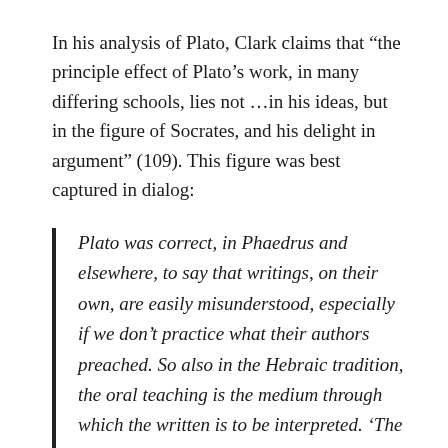In his analysis of Plato, Clark claims that “the principle effect of Plato’s work, in many differing schools, lies not …in his ideas, but in the figure of Socrates, and his delight in argument” (109). This figure was best captured in dialog:
Plato was correct, in Phaedrus and elsewhere, to say that writings, on their own, are easily misunderstood, especially if we don’t practice what their authors preached. So also in the Hebraic tradition, the oral teaching is the medium through which the written is to be interpreted. ‘The Talmud is essentially an activity, not a book: you engage in it, rather than read it as you would a piece of literature.’ The same should be true when reading